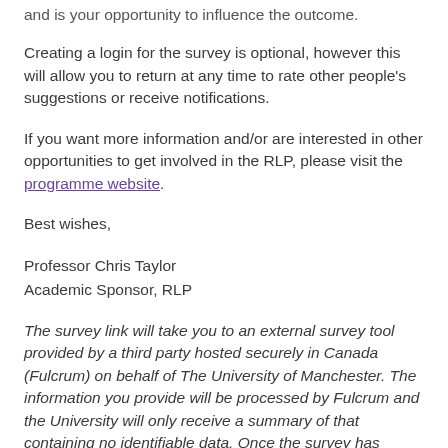and is your opportunity to influence the outcome.
Creating a login for the survey is optional, however this will allow you to return at any time to rate other people’s suggestions or receive notifications.
If you want more information and/or are interested in other opportunities to get involved in the RLP, please visit the programme website.
Best wishes,
Professor Chris Taylor
Academic Sponsor, RLP
The survey link will take you to an external survey tool provided by a third party hosted securely in Canada (Fulcrum) on behalf of The University of Manchester. The information you provide will be processed by Fulcrum and the University will only receive a summary of that containing no identifiable data. Once the survey has